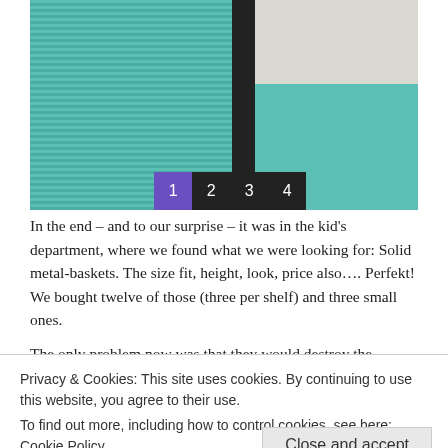[Figure (photo): Photo of teal/turquoise plastic storage baskets or organizer trays, with ribbed texture on left panel and a dark divider. Image navigation buttons (1, 2, 3, 4) are overlaid at the bottom center; button 1 is highlighted in purple.]
In the end – and to our surprise – it was in the kid's department, where we found what we were looking for: Solid metal-baskets. The size fit, height, look, price also…. Perfekt! We bought twelve of those (three per shelf) and three small ones.
The only problem now was that they would destroy the cupboards wooden shelfs, when pushing them out and in again. Then I
Privacy & Cookies: This site uses cookies. By continuing to use this website, you agree to their use.
To find out more, including how to control cookies, see here: Cookie Policy
Close and accept